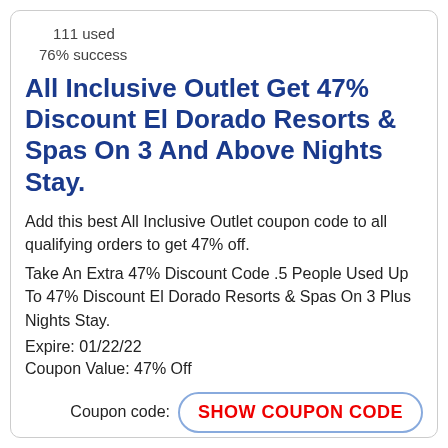111 used
76% success
All Inclusive Outlet Get 47% Discount El Dorado Resorts & Spas On 3 And Above Nights Stay.
Add this best All Inclusive Outlet coupon code to all qualifying orders to get 47% off.
Take An Extra 47% Discount Code .5 People Used Up To 47% Discount El Dorado Resorts & Spas On 3 Plus Nights Stay.
Expire: 01/22/22
Coupon Value: 47% Off
Coupon code: SHOW COUPON CODE